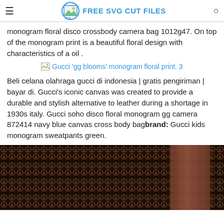FREE SVG CUT FILES
monogram floral disco crossbody camera bag 1012g47. On top of the monogram print is a beautiful floral design with characteristics of a oil .
[Figure (illustration): Broken image placeholder with alt text: Gucci 'gg blooms' monogram floral print. 3]
Beli celana olahraga gucci di indonesia | gratis pengiriman | bayar di. Gucci's iconic canvas was created to provide a durable and stylish alternative to leather during a shortage in 1930s italy. Gucci soho disco floral monogram gg camera 872414 navy blue canvas cross body bagbrand: Gucci kids monogram sweatpants green.
[Figure (photo): Close-up photo of Gucci monogram GG canvas fabric in dark brown and black pattern]